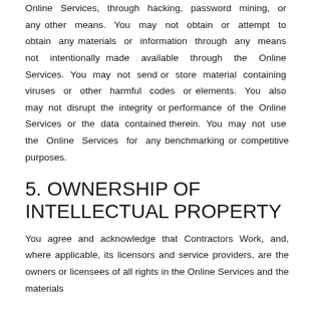Online Services, through hacking, password mining, or any other means. You may not obtain or attempt to obtain any materials or information through any means not intentionally made available through the Online Services. You may not send or store material containing viruses or other harmful codes or elements. You also may not disrupt the integrity or performance of the Online Services or the data contained therein. You may not use the Online Services for any benchmarking or competitive purposes.
5. OWNERSHIP OF INTELLECTUAL PROPERTY
You agree and acknowledge that Contractors Work, and, where applicable, its licensors and service providers, are the owners or licensees of all rights in the Online Services and the materials